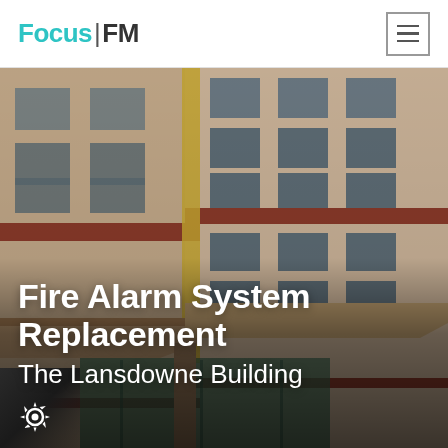Focus FM
[Figure (photo): Exterior photograph of The Lansdowne Building, a multi-storey commercial office building with beige/tan stone cladding, red horizontal banding, large windows, and a prominent corner entrance with glass panels. The building is photographed from street level looking up at an angle.]
Fire Alarm System Replacement
The Lansdowne Building